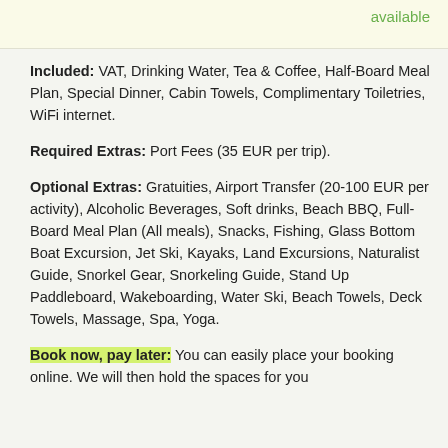available
Included: VAT, Drinking Water, Tea & Coffee, Half-Board Meal Plan, Special Dinner, Cabin Towels, Complimentary Toiletries, WiFi internet.
Required Extras: Port Fees (35 EUR per trip).
Optional Extras: Gratuities, Airport Transfer (20-100 EUR per activity), Alcoholic Beverages, Soft drinks, Beach BBQ, Full-Board Meal Plan (All meals), Snacks, Fishing, Glass Bottom Boat Excursion, Jet Ski, Kayaks, Land Excursions, Naturalist Guide, Snorkel Gear, Snorkeling Guide, Stand Up Paddleboard, Wakeboarding, Water Ski, Beach Towels, Deck Towels, Massage, Spa, Yoga.
Book now, pay later: You can easily place your booking online. We will then hold the spaces for you